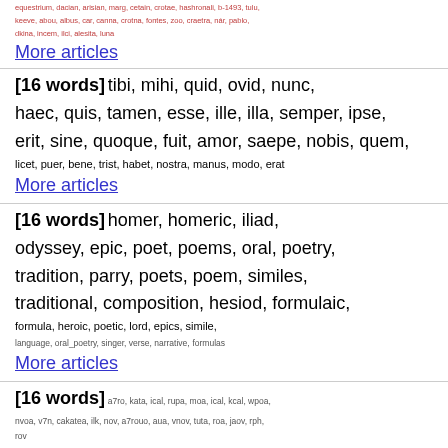equestrium, dacian, arisian, marg, cetain, crotae, hashronali, b-1493, tulu,
keeve, abou, albus, car, canna, crotna, fontes, zoo, craetra, nár, pablo,
dkina, incem, ilci, alesita, luna
More articles
[16 words] tibi, mihi, quid, ovid, nunc, haec, quis, tamen, esse, ille, illa, semper, ipse, erit, sine, quoque, fuit, amor, saepe, nobis, quem, licet, puer, bene, trist, habet, nostra, manus, modo, erat
More articles
[16 words] homer, homeric, iliad, odyssey, epic, poet, poems, oral, poetry, tradition, parry, poets, poem, similes, traditional, composition, hesiod, formulaic, formula, heroic, poetic, lord, epics, simile, language, oral_poetry, singer, verse, narrative, formulas
More articles
[16 words] a7ro, kata, ical, rupa, moa, ical, kcal, wpoa, nvoa, v7n, cakatea, ilk, nov, a7rouo, aua, vnov, tuta, roa, jaov, rph, rov
More articles
[16 words] macedonia, macedonian, thracian,